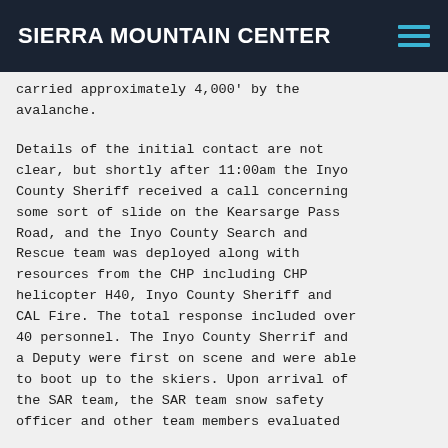SIERRA MOUNTAIN CENTER
carried approximately 4,000' by the avalanche.
Details of the initial contact are not clear, but shortly after 11:00am the Inyo County Sheriff received a call concerning some sort of slide on the Kearsarge Pass Road, and the Inyo County Search and Rescue team was deployed along with resources from the CHP including CHP helicopter H40, Inyo County Sheriff and CAL Fire. The total response included over 40 personnel. The Inyo County Sherrif and a Deputy were first on scene and were able to boot up to the skiers. Upon arrival of the SAR team, the SAR team snow safety officer and other team members evaluated